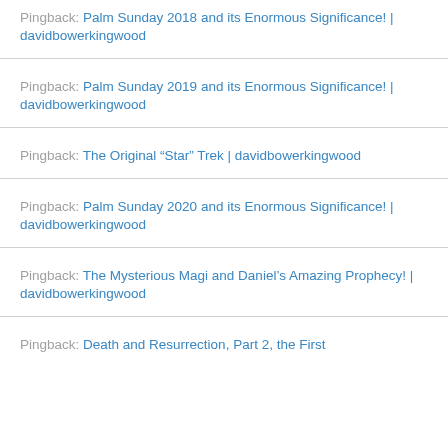Pingback: Palm Sunday 2018 and its Enormous Significance! | davidbowerkingwood
Pingback: Palm Sunday 2019 and its Enormous Significance! | davidbowerkingwood
Pingback: The Original “Star” Trek | davidbowerkingwood
Pingback: Palm Sunday 2020 and its Enormous Significance! | davidbowerkingwood
Pingback: The Mysterious Magi and Daniel’s Amazing Prophecy! | davidbowerkingwood
Pingback: Death and Resurrection, Part 2, the First